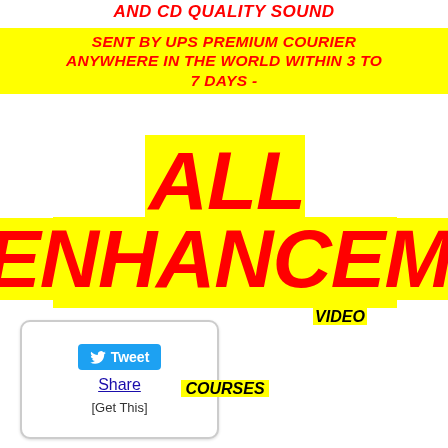AND CD QUALITY SOUND
SENT BY UPS PREMIUM COURIER ANYWHERE IN THE WORLD WITHIN 3 TO 7 DAYS -
ALL ENERGY ENHANCEMENT VIDEO COURSES